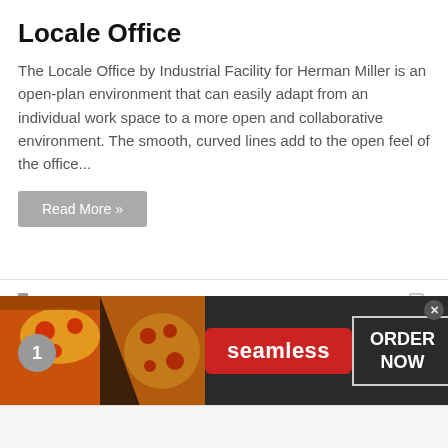Locale Office
The Locale Office by Industrial Facility for Herman Miller is an open-plan environment that can easily adapt from an individual work space to a more open and collaborative environment. The smooth, curved lines add to the open feel of the office...
Read More »
Popular Articles
Nulla Bike
[Figure (photo): Seamless food delivery advertisement banner with pizza images on the left, Seamless logo in red in the center, and ORDER NOW button on the right]
[Figure (illustration): Sketch/line drawing of a bicycle (Nulla Bike)]